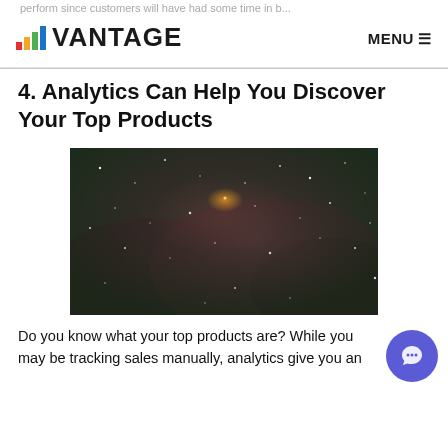perform since customers will have had some time in b... VANTAGE  MENU
4. Analytics Can Help You Discover Your Top Products
[Figure (photo): A dark nebula or night sky image showing scattered white stars/dots against a dark green and purple/maroon background resembling a nebula or aerial nature scene.]
Do you know what your top products are? While you may be tracking sales manually, analytics give you an